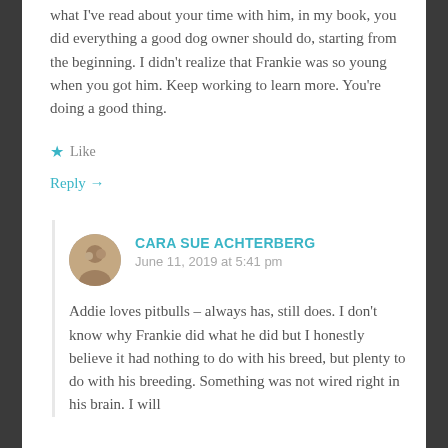what I've read about your time with him, in my book, you did everything a good dog owner should do, starting from the beginning. I didn't realize that Frankie was so young when you got him. Keep working to learn more. You're doing a good thing.
★ Like
Reply →
CARA SUE ACHTERBERG
June 11, 2019 at 5:41 pm
Addie loves pitbulls – always has, still does. I don't know why Frankie did what he did but I honestly believe it had nothing to do with his breed, but plenty to do with his breeding. Something was not wired right in his brain. I will